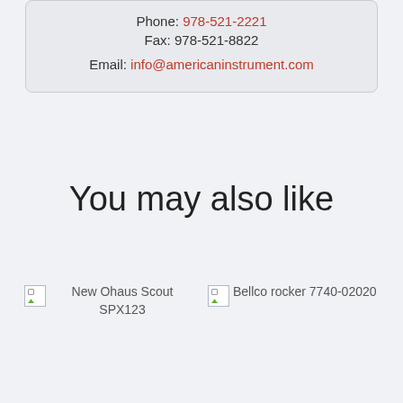Phone: 978-521-2221
Fax: 978-521-8822

Email: info@americaninstrument.com
You may also like
New Ohaus Scout SPX123
Bellco rocker 7740-02020